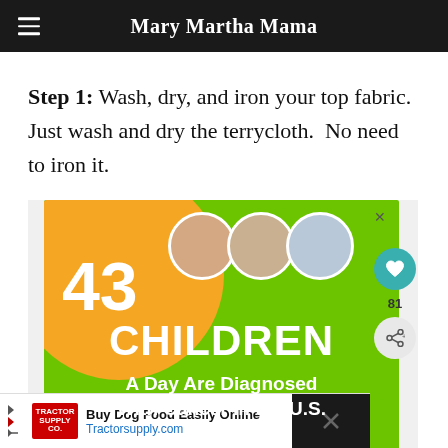Mary Martha Mama
Step 1: Wash, dry, and iron your top fabric. Just wash and dry the terrycloth. No need to iron it.
[Figure (screenshot): Advertisement: green background showing '43 CHILDREN A Day Are Diagnosed With Cancer in the U.S.' with three children's photos and cookies text at the bottom]
Buy Dog Food Easily Online Tractorsupply.com